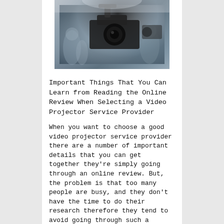[Figure (photo): Close-up photograph of a video camera/camcorder on a stabilizer rig, with blurred people and equipment in the background, shot in a news or event setting.]
Important Things That You Can Learn from Reading the Online Review When Selecting a Video Projector Service Provider
When you want to choose a good video projector service provider there are a number of important details that you can get together they're simply going through an online review. But, the problem is that too many people are busy, and they don't have the time to do their research therefore they tend to avoid going through such a platform and as